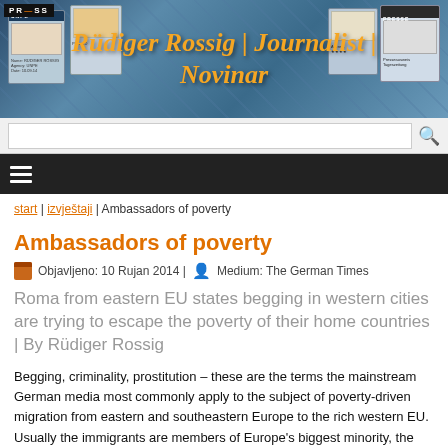[Figure (illustration): Website header banner with collage of press/journalist credential cards and photos. Title text reads 'Rüdiger Rossig | Journalist | Novinar' in orange italic font on blue/teal collage background.]
start | izvještaji | Ambassadors of poverty
Ambassadors of poverty
Objavljeno: 10 Rujan 2014 | Medium: The German Times
Roma from eastern EU states begging in western cities are trying to escape the poverty of their home countries | By Rüdiger Rossig
Begging, criminality, prostitution – these are the terms the mainstream German media most commonly apply to the subject of poverty-driven migration from eastern and southeastern Europe to the rich western EU. Usually the immigrants are members of Europe's biggest minority, the